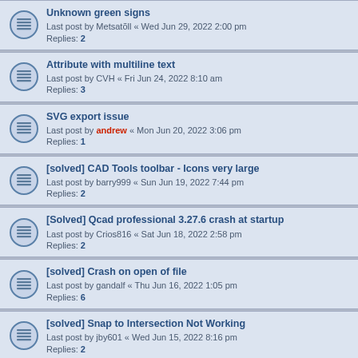Unknown green signs
Last post by Metsatõll « Wed Jun 29, 2022 2:00 pm
Replies: 2
Attribute with multiline text
Last post by CVH « Fri Jun 24, 2022 8:10 am
Replies: 3
SVG export issue
Last post by andrew « Mon Jun 20, 2022 3:06 pm
Replies: 1
[solved] CAD Tools toolbar - Icons very large
Last post by barry999 « Sun Jun 19, 2022 7:44 pm
Replies: 2
[Solved] Qcad professional 3.27.6 crash at startup
Last post by Crios816 « Sat Jun 18, 2022 2:58 pm
Replies: 2
[solved] Crash on open of file
Last post by gandalf « Thu Jun 16, 2022 1:05 pm
Replies: 6
[solved] Snap to Intersection Not Working
Last post by jby601 « Wed Jun 15, 2022 8:16 pm
Replies: 2
Import DXF text has prefixes
Last post by Moult « Wed Jun 15, 2022 8:25 am
Replies: 4
[solved] Exiting full screen mode
Last post by shelly142 « Fri Jun 10, 2022 10:21 pm
Replies: 2
[SOLVED] The windows version of QCAD is slow